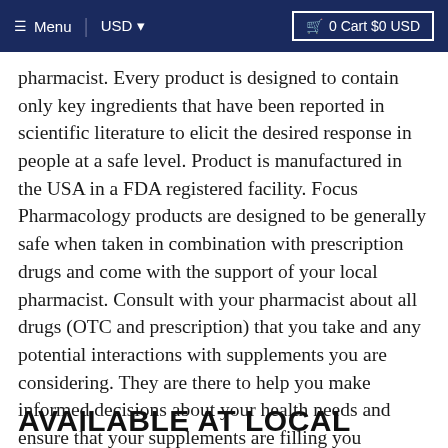≡ Menu | USD ▾  🛒 0 Cart $0 USD
pharmacist.  Every product is designed to contain only key ingredients that have been reported in scientific literature to elicit the desired response in people at a safe level. Product is manufactured in the USA in a FDA registered facility. Focus Pharmacology products are designed to be generally safe when taken in combination with prescription drugs and come with the support of your local pharmacist.  Consult with your pharmacist about all drugs (OTC and prescription) that you take and any potential interactions with supplements you are considering.  They are there to help you make informed decisions about your health needs and ensure that your supplements are filling you nutritional needs safely.
AVAILABLE AT LOCAL